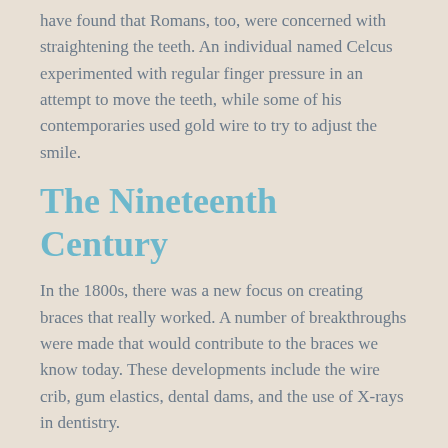have found that Romans, too, were concerned with straightening the teeth. An individual named Celcus experimented with regular finger pressure in an attempt to move the teeth, while some of his contemporaries used gold wire to try to adjust the smile.
The Nineteenth Century
In the 1800s, there was a new focus on creating braces that really worked. A number of breakthroughs were made that would contribute to the braces we know today. These developments include the wire crib, gum elastics, dental dams, and the use of X-rays in dentistry.
Reaching Modern Day
By the early 1900s, we have the term "braces," and the technology only continues to advance. Until the 1970s, braces consisted of wires that wrapped all the way around the tooth, so they looked entirely different than